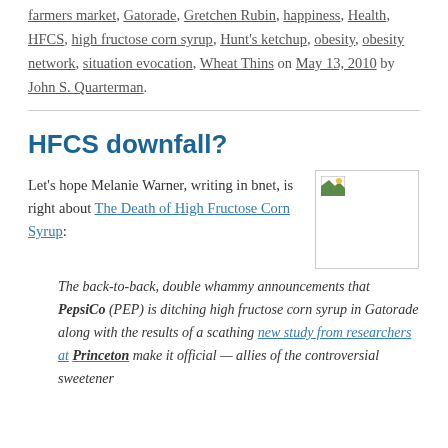farmers market, Gatorade, Gretchen Rubin, happiness, Health, HFCS, high fructose corn syrup, Hunt's ketchup, obesity, obesity network, situation evocation, Wheat Thins on May 13, 2010 by John S. Quarterman.
HFCS downfall?
Let's hope Melanie Warner, writing in bnet, is right about The Death of High Fructose Corn Syrup:
[Figure (photo): Small image placeholder with broken image icon]
The back-to-back, double whammy announcements that PepsiCo (PEP) is ditching high fructose corn syrup in Gatorade along with the results of a scathing new study from researchers at Princeton make it official — allies of the controversial sweetener